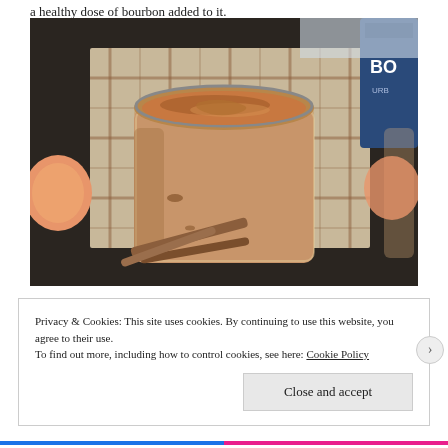a healthy dose of bourbon added to it.
[Figure (photo): A glass mason jar filled with creamy pumpkin butter, surrounded by a plaid cloth, fresh peaches, cinnamon sticks, and a bottle of bourbon on a dark surface.]
Privacy & Cookies: This site uses cookies. By continuing to use this website, you agree to their use.
To find out more, including how to control cookies, see here: Cookie Policy
Close and accept